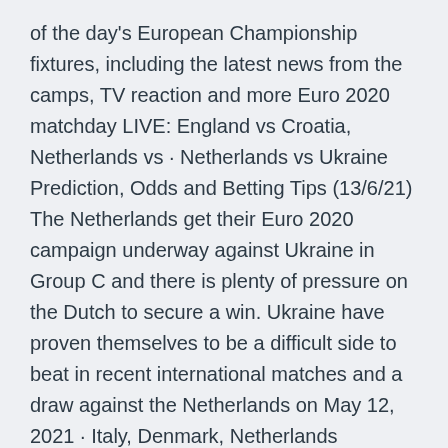of the day's European Championship fixtures, including the latest news from the camps, TV reaction and more Euro 2020 matchday LIVE: England vs Croatia, Netherlands vs · Netherlands vs Ukraine Prediction, Odds and Betting Tips (13/6/21) The Netherlands get their Euro 2020 campaign underway against Ukraine in Group C and there is plenty of pressure on the Dutch to secure a win. Ukraine have proven themselves to be a difficult side to beat in recent international matches and a draw against the Netherlands on May 12, 2021 · Italy, Denmark, Netherlands England, Spain and Germany will play all their group matches at home.
Netherlands vs Ukraine starting lineups: Latest team news, squads and The Germans will play their group matches in The latest match statistics between